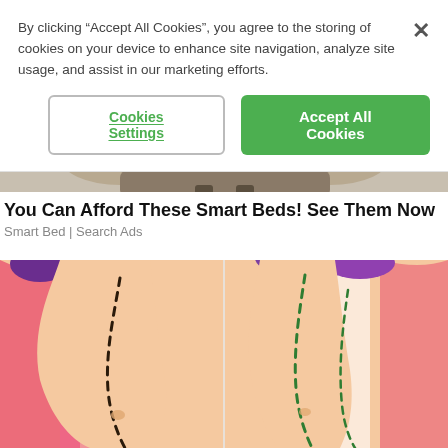By clicking “Accept All Cookies”, you agree to the storing of cookies on your device to enhance site navigation, analyze site usage, and assist in our marketing efforts.
Cookies Settings
Accept All Cookies
[Figure (illustration): Partial view of a bed/mattress product image (brown/tan colored headboard or mattress, cropped)]
You Can Afford These Smart Beds! See Them Now
Smart Bed | Search Ads
[Figure (illustration): Illustration of two female torsos side by side showing body contouring/waist slimming concept with dashed lines indicating outline changes, wearing pink and white bikini bottoms, with purple hair visible at top]